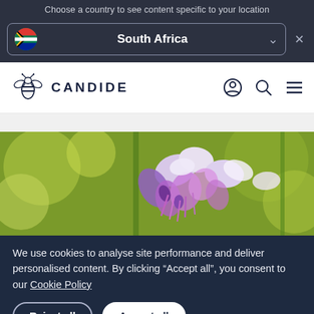Choose a country to see content specific to your location
South Africa
[Figure (logo): Candide logo with bee icon and text CANDIDE]
[Figure (photo): Close-up photo of purple and white flowers (wisteria-like) with green bokeh background]
We use cookies to analyse site performance and deliver personalised content. By clicking "Accept all", you consent to our Cookie Policy
Reject all
Accept all